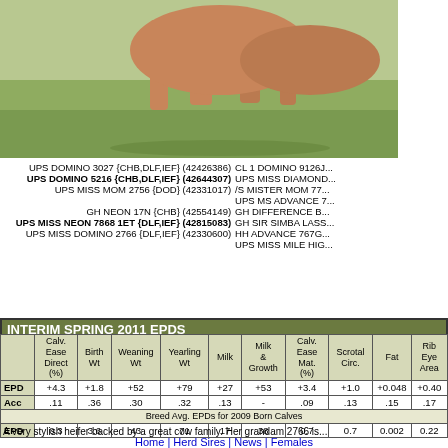[Figure (photo): Cattle/heifer standing on grass, showing legs and body]
UPS DOMINO 3027 {CHB,DLF,IEF} (42426386)
CL 1 DOMINO 9126J...
UPS DOMINO 5216 {CHB,DLF,IEF} (42644307)
UPS MISS DIAMOND...
UPS MISS MOM 2756 {DOD} (42331017)
IS MISTER MOM 77...
UPS MS ADVANCE 7...
GH NEON 17N {CHB} (42554149)
GH DIFFERENCE B...
GH SIR SIMBA LASS...
UPS MISS NEON 7868 1ET {DLF,IEF} (42815083)
HH ADVANCE 767G...
UPS MISS DOMINO 2766 {DLF,IEF} (42330600)
UPS MISS MILE HIG...
INTERIM SPRING 2011 EPDS
|  | Calv. Ease Direct (%) | Birth Wt | Weaning Wt | Yearling Wt | Milk | Milk & Growth | Calv. Ease Mat. (%) | Scrotal Circ. | Fat | Rib Eye Area |
| --- | --- | --- | --- | --- | --- | --- | --- | --- | --- | --- |
| EPD | +4.3 | +1.8 | +52 | +79 | +27 | +53 | +3.4 | +1.0 | +0.048 | +0.40 |
| Acc | .11 | .36 | .30 | .32 | .13 | - | .09 | .13 | .15 | .17 |
| Breed Avg. EPDs for 2009 Born Calves |
| EPD | 0.3 | 3.6 | 43 | 71 | 17 | 38 | 0.7 | 0.7 | 0.002 | 0.22 |
A very stylish heifer backed by a great cow family. Her grandam 2766 is...
Home | Herd Sires | News | Females